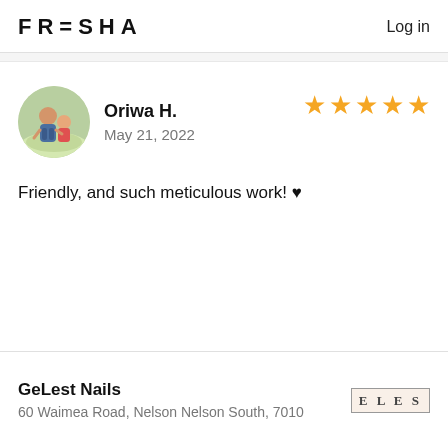FRESHA   Log in
Oriwa H.
May 21, 2022
★★★★★
Friendly, and such meticulous work! ♥
GeLest Nails
60 Waimea Road, Nelson Nelson South, 7010